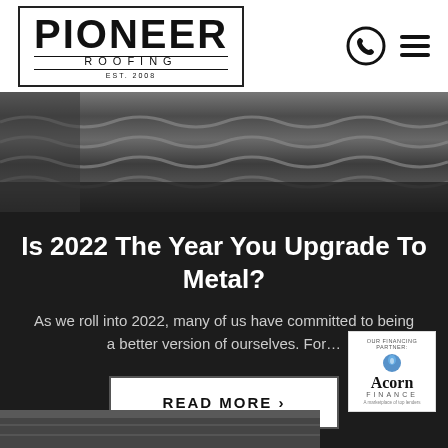[Figure (logo): Pioneer Roofing logo with double border box, EST. 2008]
[Figure (photo): Close-up photo of corrugated dark metal roofing panels]
Is 2022 The Year You Upgrade To Metal?
As we roll into 2022, many of us have committed to being a better version of ourselves. For…
READ MORE ›
[Figure (logo): Acorn Finance logo with text 'OUR FINANCING PARTNER:' and tagline 'A marketplace of top lenders']
[Figure (photo): Partial bottom strip showing metal roofing/construction material]